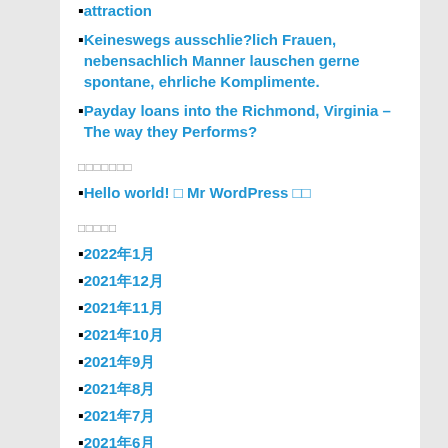attraction
Keineswegs ausschlie?lich Frauen, nebensachlich Manner lauschen gerne spontane, ehrliche Komplimente.
Payday loans into the Richmond, Virginia – The way they Performs?
□□□□□□□
Hello world! □ Mr WordPress □□
□□□□□
2022年1月
2021年12月
2021年11月
2021年10月
2021年9月
2021年8月
2021年7月
2021年6月
2021年5月
2021年4月